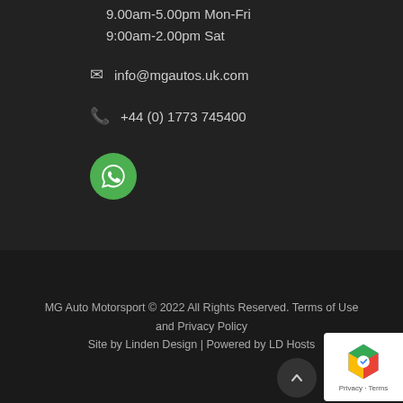9.00am-5.00pm Mon-Fri
9:00am-2.00pm Sat
info@mgautos.uk.com
+44 (0) 1773 745400
[Figure (logo): WhatsApp green circle icon button]
MG Auto Motorsport © 2022 All Rights Reserved. Terms of Use and Privacy Policy Site by Linden Design | Powered by LD Hosts